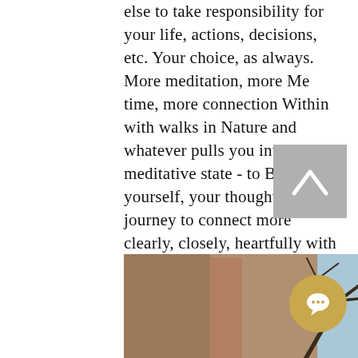else to take responsibility for your life, actions, decisions, etc. Your choice, as always. More meditation, more Me time, more connection Within with walks in Nature and whatever pulls you into that meditative state - to BE with yourself, your thoughts, your journey to connect more clearly, closely, heartfully with Love, Compassion, Forgiveness, non-judgement of Self and others. It's Time! Create your own Sacred Space at home to give this aspect of yourself a priority!
[Figure (photo): Photo of bare tree branches against a blue sky, nature scene visible at the bottom of the page]